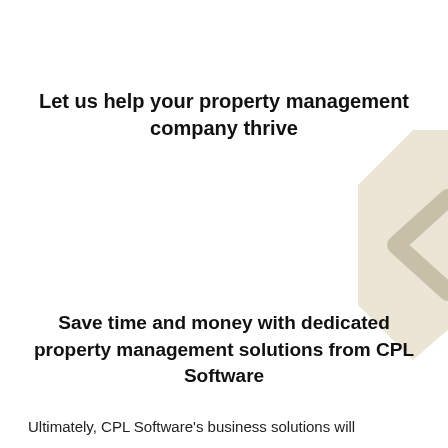Let us help your property management company thrive
[Figure (illustration): Partial hexagon/chevron decorative shape in beige/tan color, positioned at top right corner of page]
Save time and money with dedicated property management solutions from CPL Software
Ultimately, CPL Software's business solutions will